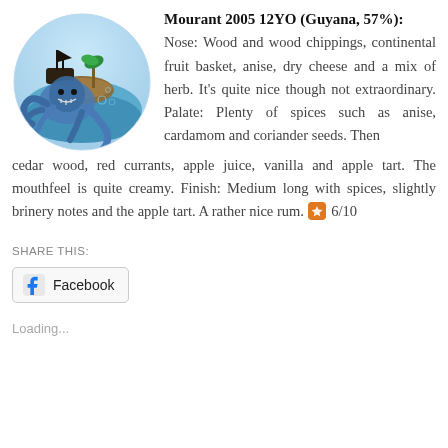[Figure (illustration): Fantasy illustration of a giant kraken/octopus monster attacking a pirate ship on a small island globe, with blue tentacles and a dark ship silhouette against a light sky.]
Mourant 2005 12YO (Guyana, 57%): Nose: Wood and wood chippings, continental fruit basket, anise, dry cheese and a mix of herb. It's quite nice though not extraordinary. Palate: Plenty of spices such as anise, cardamom and coriander seeds. Then cedar wood, red currants, apple juice, vanilla and apple tart. The mouthfeel is quite creamy. Finish: Medium long with spices, slightly brinery notes and the apple tart. A rather nice rum. 🔖 6/10
SHARE THIS:
Facebook
Loading...